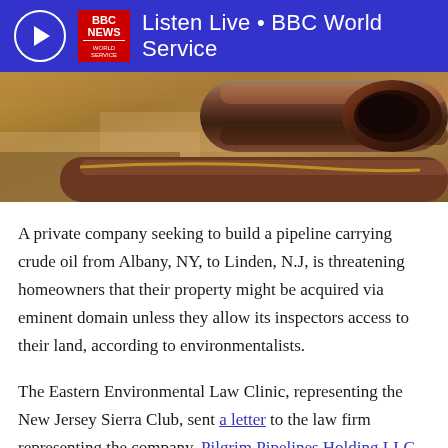Listen Live • BBC World Service
[Figure (photo): Photograph of large steel pipeline pipes lying in a dirt trench or excavation site, with rusty metal pipe ends visible]
A private company seeking to build a pipeline carrying crude oil from Albany, NY, to Linden, N.J, is threatening homeowners that their property might be acquired via eminent domain unless they allow its inspectors access to their land, according to environmentalists.
The Eastern Environmental Law Clinic, representing the New Jersey Sierra Club, sent a letter to the law firm representing the company, Pilgrim Pipelines Holding LLC, saying the assertions are factually wrong and to desist from making such claims.